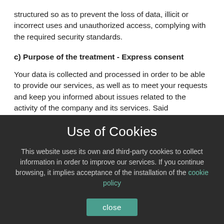structured so as to prevent the loss of data, illicit or incorrect uses and unauthorized access, complying with the required security standards.
c) Purpose of the treatment - Express consent
Your data is collected and processed in order to be able to provide our services, as well as to meet your requests and keep you informed about issues related to the activity of the company and its services. Said communication may be made through any electronic or printed channel. The basis that legitimates the processing of your data is the granting of your express consent when you check the
Use of Cookies
This website uses its own and third-party cookies to collect information in order to improve our services. If you continue browsing, it implies acceptance of the installation of the cookie policy